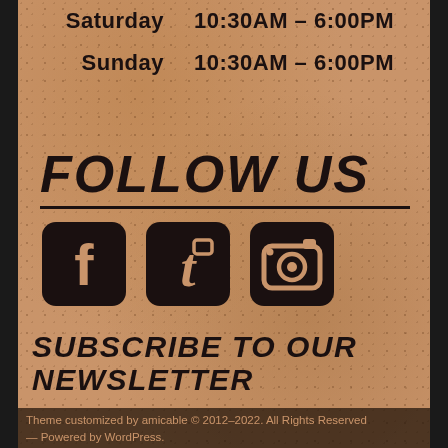Saturday   10:30AM – 6:00PM
Sunday   10:30AM – 6:00PM
FOLLOW US
[Figure (infographic): Three social media icons in rounded square shapes: Facebook (f), Twitter (bird), Instagram (camera)]
SUBSCRIBE TO OUR NEWSLETTER
Theme customized by amicable © 2012–2022. All Rights Reserved — Powered by WordPress.